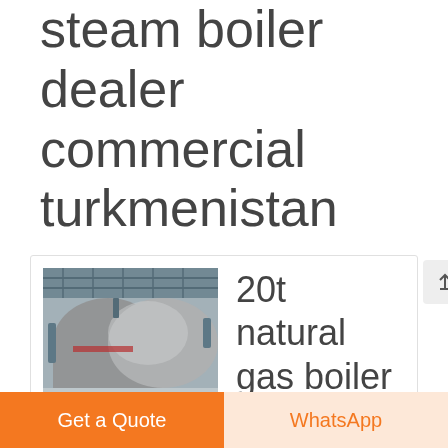steam boiler dealer commercial turkmenistan
[Figure (photo): Industrial steam boiler inside a factory building with large cylindrical boiler tanks and overhead steel structure]
20t natural gas boiler plant
lith...
Get a Quote
WhatsApp